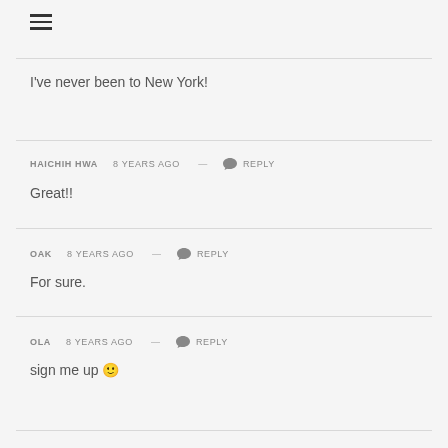[Figure (other): Hamburger menu icon (three horizontal lines)]
I've never been to New York!
HAICHIH HWA 8 years ago — Reply
Great!!
OAK 8 years ago — Reply
For sure.
OLA 8 years ago — Reply
sign me up 🙂